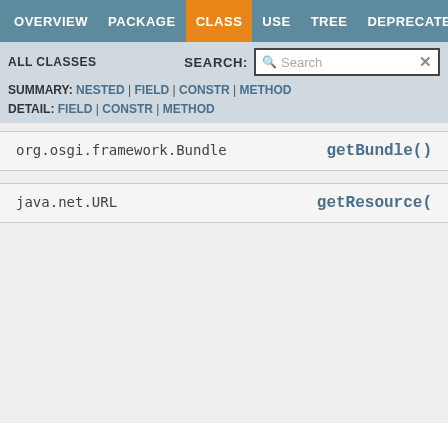OVERVIEW | PACKAGE | CLASS | USE | TREE | DEPRECATED
ALL CLASSES | SEARCH:
SUMMARY: NESTED | FIELD | CONSTR | METHOD
DETAIL: FIELD | CONSTR | METHOD
| Type | Method |
| --- | --- |
| org.osgi.framework.Bundle | getBundle() |
| java.net.URL | getResource( |